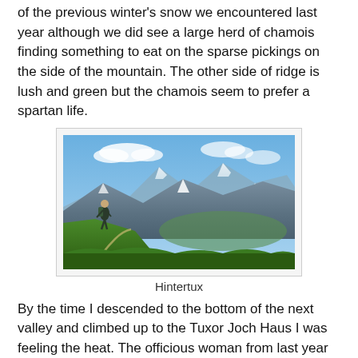of the previous winter's snow we encountered last year although we did see a large herd of chamois finding something to eat on the sparse pickings on the side of the mountain. The other side of ridge is lush and green but the chamois seem to prefer a spartan life.
[Figure (photo): A hiker with a backpack standing on a mountain trail overlooking a panoramic alpine landscape with snow-capped peaks, green slopes, and blue sky with clouds. Location: Hintertux.]
Hintertux
By the time I descended to the bottom of the next valley and climbed up to the Tuxor Joch Haus I was feeling the heat. The officious woman from last year wasn't about, the food looked good, they had vacancies and to be honest the prospect of a long lazy afternoon was tempting. The sign said that the Geraer Hütte was 5/6 hours away so we knew we had a big afternoon.